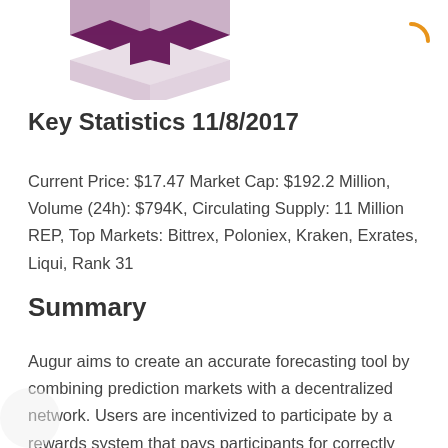[Figure (logo): Augur logo - dark purple stylized box/gift icon with ribbon, partially cropped at top]
Key Statistics 11/8/2017
Current Price: $17.47 Market Cap: $192.2 Million, Volume (24h): $794K, Circulating Supply: 11 Million REP, Top Markets: Bittrex, Poloniex, Kraken, Exrates, Liqui, Rank 31
Summary
Augur aims to create an accurate forecasting tool by combining prediction markets with a decentralized network. Users are incentivized to participate by a rewards system that pays participants for correctly predicting future real-world events. In addition to simply